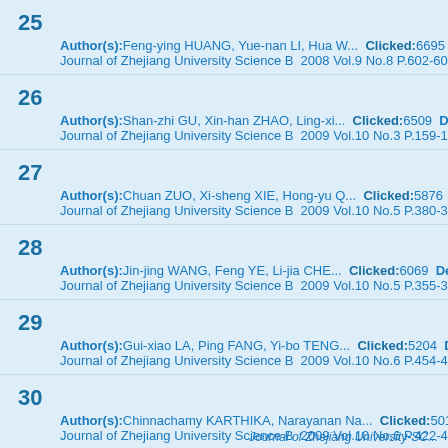25 Author(s): Feng-ying HUANG, Yue-nan LI, Hua W... Clicked:6695 Journal of Zhejiang University Science B 2008 Vol.9 No.8 P.602-60
26 Author(s): Shan-zhi GU, Xin-han ZHAO, Ling-xi... Clicked:6509 D Journal of Zhejiang University Science B 2009 Vol.10 No.3 P.159-1
27 Author(s): Chuan ZUO, Xi-sheng XIE, Hong-yu Q... Clicked:5876 Journal of Zhejiang University Science B 2009 Vol.10 No.5 P.380-3
28 Author(s): Jin-jing WANG, Feng YE, Li-jia CHE... Clicked:6069 De Journal of Zhejiang University Science B 2009 Vol.10 No.5 P.355-3
29 Author(s): Gui-xiao LA, Ping FANG, Yi-bo TENG... Clicked:5204 D Journal of Zhejiang University Science B 2009 Vol.10 No.6 P.454-4
30 Author(s): Chinnachamy KARTHIKA, Narayanan Na... Clicked:501 Journal of Zhejiang University Science B 2009 Vol.10 No.6 P.422-4
Journal of Zhejiang University-SC...